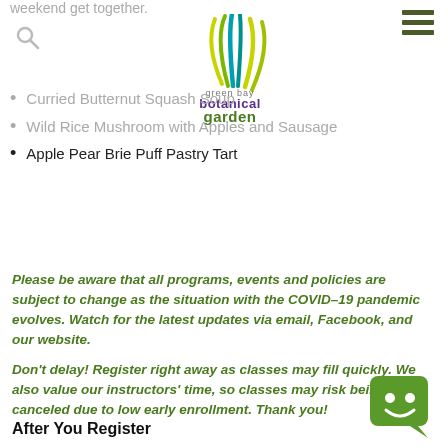weekend get together.
[Figure (logo): Green Bay Botanical Garden logo with colorful leaf/grass graphic and text 'green bay botanical garden']
[Figure (other): Hamburger menu icon (three horizontal dark green lines)]
Curried Butternut Squash Soup
Wild Rice Mushroom with Apples and Sausage
Apple Pear Brie Puff Pastry Tart
Please be aware that all programs, events and policies are subject to change as the situation with the COVID–19 pandemic evolves. Watch for the latest updates via email, Facebook, and our website.
Don't delay! Register right away as classes may fill quickly. We also value our instructors' time, so classes may risk being canceled due to low early enrollment. Thank you!
After You Register
[Figure (illustration): Green chat bubble / chatbot icon with a smiley face]